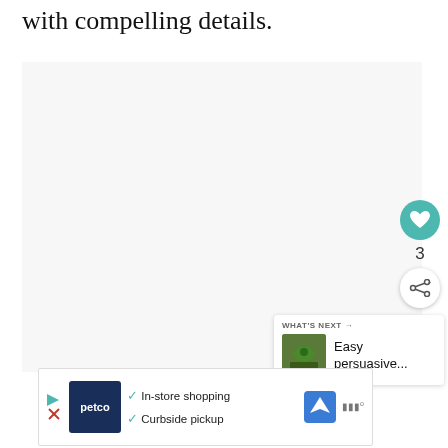with compelling details.
[Figure (screenshot): Large light gray content area block, likely an embedded video or image placeholder]
[Figure (other): Heart/like button (teal circle with heart icon), count '3', and share button (white circle with share icon)]
[Figure (other): What's Next panel showing thumbnail and text 'Easy persuasive...']
[Figure (other): Advertisement banner: Petco logo with checkmarks for 'In-store shopping' and 'Curbside pickup', map/navigation icons]